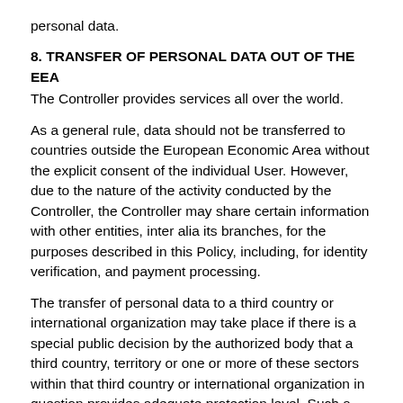personal data.
8. TRANSFER OF PERSONAL DATA OUT OF THE EEA
The Controller provides services all over the world.
As a general rule, data should not be transferred to countries outside the European Economic Area without the explicit consent of the individual User. However, due to the nature of the activity conducted by the Controller, the Controller may share certain information with other entities, inter alia its branches, for the purposes described in this Policy, including, for identity verification, and payment processing.
The transfer of personal data to a third country or international organization may take place if there is a special public decision by the authorized body that a third country, territory or one or more of these sectors within that third country or international organization in question provides adequate protection level. Such a transfer does